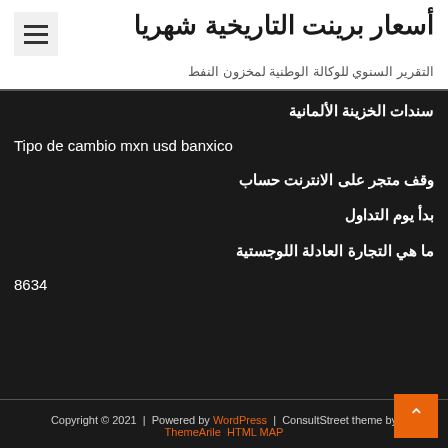أسعار برينت التاريخية شهريا
التقرير السنوي للوكالة الوطنية لمخزون النفط
سندات الخزينة الألمانية
Tipo de cambio mxn usd banxico
وقف متجر على الانترنت حساب
بدأ يوم التداول
ما هي التجارة العادلة اللوجستية
8634
Copyright © 2021 | Powered by WordPress | ConsultStreet theme by ThemeArile HTML MAP